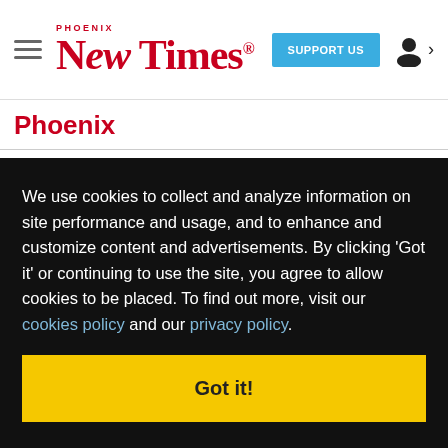Phoenix New Times — SUPPORT US
Phoenix
We use cookies to collect and analyze information on site performance and usage, and to enhance and customize content and advertisements. By clicking 'Got it' or continuing to use the site, you agree to allow cookies to be placed. To find out more, visit our cookies policy and our privacy policy.
Got it!